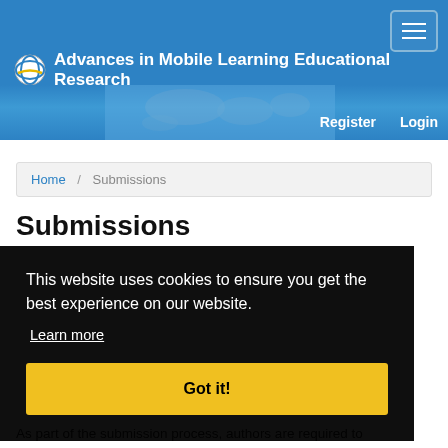Advances in Mobile Learning Educational Research
Register   Login
Home / Submissions
Submissions
This website uses cookies to ensure you get the best experience on our website.
Learn more
Got it!
As part of the submission process, authors are required to